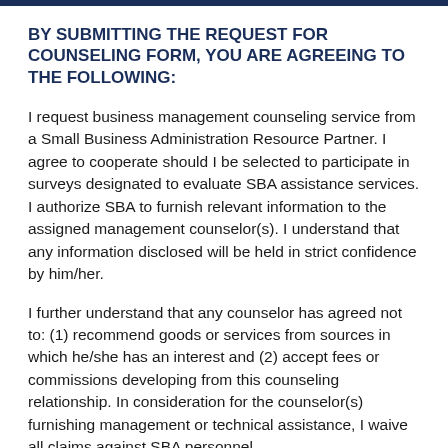BY SUBMITTING THE REQUEST FOR COUNSELING FORM, YOU ARE AGREEING TO THE FOLLOWING:
I request business management counseling service from a Small Business Administration Resource Partner. I agree to cooperate should I be selected to participate in surveys designated to evaluate SBA assistance services. I authorize SBA to furnish relevant information to the assigned management counselor(s). I understand that any information disclosed will be held in strict confidence by him/her.
I further understand that any counselor has agreed not to: (1) recommend goods or services from sources in which he/she has an interest and (2) accept fees or commissions developing from this counseling relationship. In consideration for the counselor(s) furnishing management or technical assistance, I waive all claims against SBA personnel,